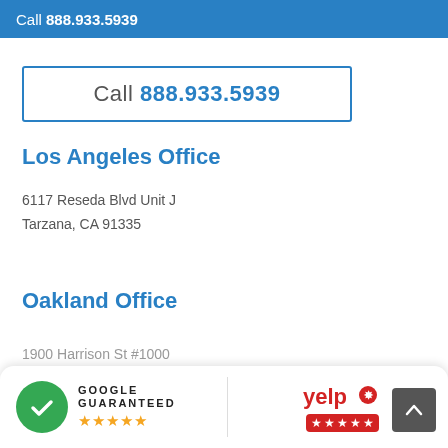Call 888.933.5939
Call 888.933.5939
Los Angeles Office
6117 Reseda Blvd Unit J
Tarzana, CA 91335
Oakland Office
1900 Harrison St #1000
[Figure (logo): Google Guaranteed badge with green checkmark and five orange stars]
[Figure (logo): Yelp logo with five red stars rating badge]